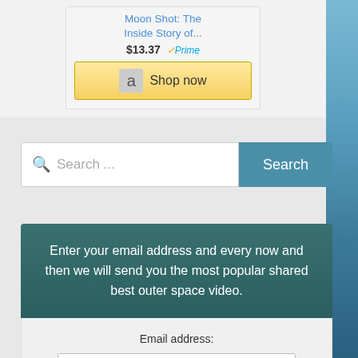[Figure (screenshot): Amazon product ad showing 'Moon Shot: The Inside Story of...' book priced at $13.37 with Prime badge and 'Shop now' button]
[Figure (screenshot): Search bar with placeholder text 'Search ...' and a teal 'Search' button]
Enter your email address and every now and then we will send you the most popular shared best outer space video.
Email address:
Your email address
Sign up